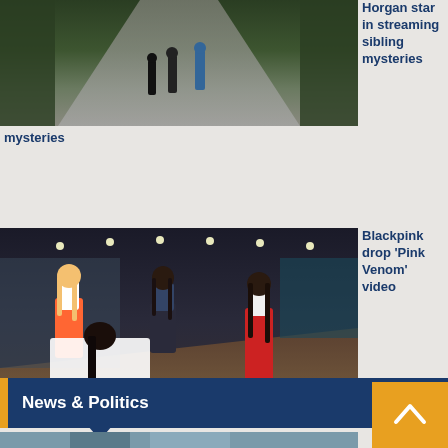[Figure (photo): Photo of people walking on a forest path, silhouettes from behind]
Horgan star in streaming sibling mysteries
[Figure (photo): Blackpink K-pop group photo in dance studio, four members in colorful outfits]
Blackpink drop 'Pink Venom' video
News & Politics
[Figure (photo): Partial image of a person, bottom of page]